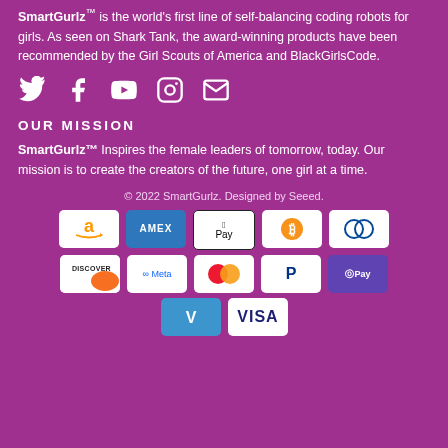SmartGurlz™ is the world's first line of self-balancing coding robots for girls. As seen on Shark Tank, the award-winning products have been recommended by the Girl Scouts of America and BlackGirlsCode.
[Figure (infographic): Social media icons: Twitter, Facebook, YouTube, Instagram, Email]
OUR MISSION
SmartGurlz™ Inspires the female leaders of tomorrow, today. Our mission is to create the creators of the future, one girl at a time.
© 2022 SmartGurlz. Designed by Seeed.
[Figure (infographic): Payment method badges: Amazon, Amex, Apple Pay, Bitcoin, Diners Club, Discover, Meta, Mastercard, PayPal, G Pay, Venmo, Visa]